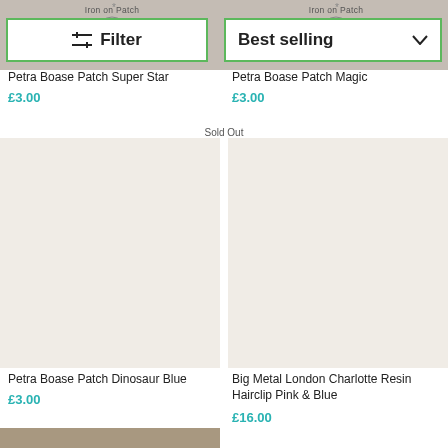[Figure (screenshot): Top portion of two product images showing iron on patch products with beige/grey background, each with 'Iron on Patch' label and circular logo]
Filter
Best selling
Petra Boase Patch Super Star
£3.00
Petra Boase Patch Magic
£3.00
Sold Out
Petra Boase Patch Dinosaur Blue
£3.00
Big Metal London Charlotte Resin Hairclip Pink & Blue
£16.00
[Figure (photo): Partial product photo of Petra Boase Patch Dinosaur Blue item on wooden background, bottom of page]